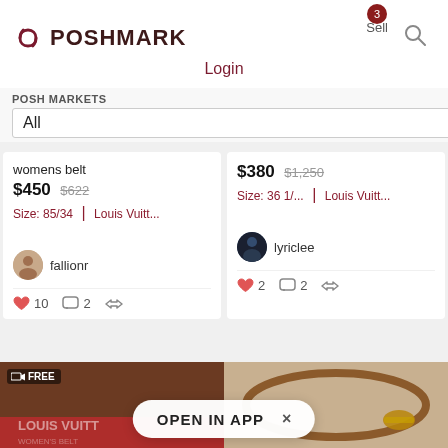POSHMARK | Sell | Login
POSH MARKETS
All
womens belt
$450  $622
Size: 85/34  |  Louis Vuitt...
fallionr
♥ 10  💬 2
$380  $1,250
Size: 36 1/...  |  Louis Vuitt...
lyriclee
♥ 2  💬 2
[Figure (photo): Louis Vuitton product image with red belt and LV marking, with FREE shipping badge]
[Figure (photo): Louis Vuitton belt in brown/tan monogram canvas on gray background]
OPEN IN APP  ×